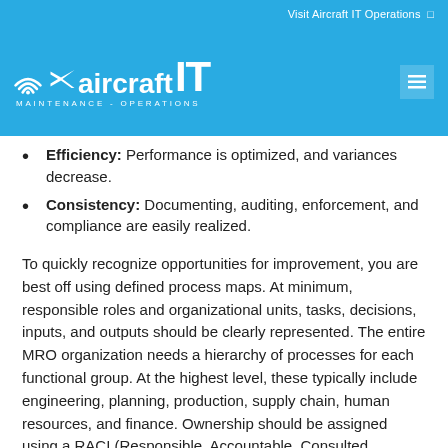Visit Aircraft IT Operations →
[Figure (logo): Aircraft IT Maintenance-Operations logo on blue background with wifi/plane icons]
Efficiency: Performance is optimized, and variances decrease.
Consistency: Documenting, auditing, enforcement, and compliance are easily realized.
To quickly recognize opportunities for improvement, you are best off using defined process maps. At minimum, responsible roles and organizational units, tasks, decisions, inputs, and outputs should be clearly represented. The entire MRO organization needs a hierarchy of processes for each functional group. At the highest level, these typically include engineering, planning, production, supply chain, human resources, and finance. Ownership should be assigned using a RACI (Responsible, Accountable, Consulted, Informed) index, and you should conduct periodic audits against predefined performance compliance, it is also help